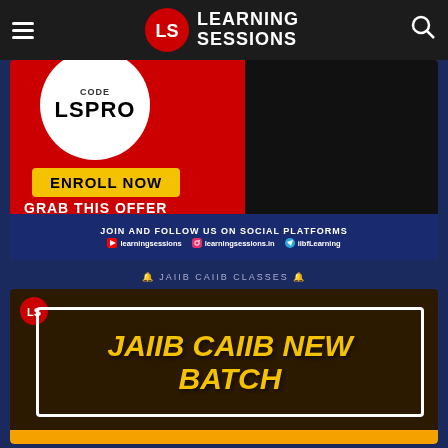Learning Sessions
[Figure (infographic): Promotional banner for Learning Sessions showing CODE LSPRO, ENROLL NOW button, GRAB THIS OFFER text, and social media handles]
🔔 JAIIB CAIIB CLASSES 🔔
[Figure (infographic): JAIIB CAIIB NEW BATCH promotional thumbnail with yellow bold text on dark brown background]